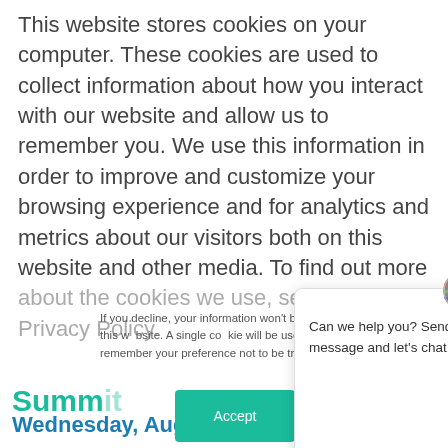This website stores cookies on your computer. These cookies are used to collect information about how you interact with our website and allow us to remember you. We use this information in order to improve and customize your browsing experience and for analytics and metrics about our visitors both on this website and other media. To find out more about the cookies we use, see our Privacy Policy.
If you decline, your information won't be tracked when you visit this website. A single cookie will be used in your browser to remember your preference not to be tracked.
Accept
[Figure (screenshot): Chat widget popup with globe icon, close button, and text: 'Can we help you? Send us a message and let's chat!']
Summit
Wednesday, August 5, 2020